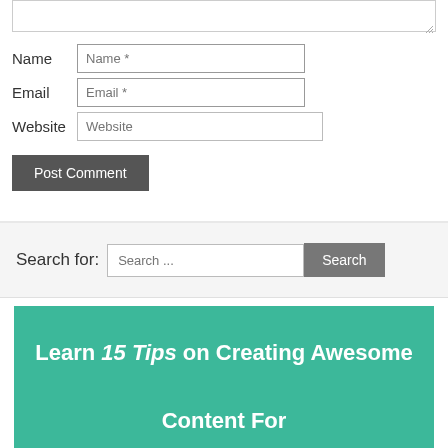[Figure (screenshot): Comment form textarea (partially visible) with resize handle at bottom right]
Name
[Figure (screenshot): Name input field with placeholder 'Name *']
Email
[Figure (screenshot): Email input field with placeholder 'Email *']
Website
[Figure (screenshot): Website input field with placeholder 'Website']
[Figure (screenshot): Post Comment button]
Search for:
[Figure (screenshot): Search input field with placeholder 'Search ...' and Search button]
Learn 15 Tips on Creating Awesome Content For